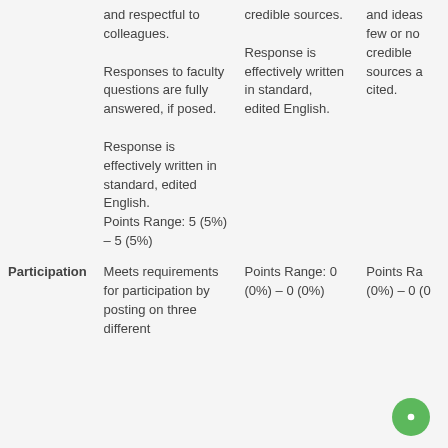|  | Column A | Column B | Column C |
| --- | --- | --- | --- |
|  | and respectful to colleagues.

Responses to faculty questions are fully answered, if posed.

Response is effectively written in standard, edited English.
Points Range: 5 (5%) – 5 (5%) | credible sources.

Response is effectively written in standard, edited English. | and ideas few or no credible sources a cited. |
| Participation | Meets requirements for participation by posting on three different... | Points Range: 0 (0%) – 0 (0%) | Points Ra (0%) – 0 (0 |